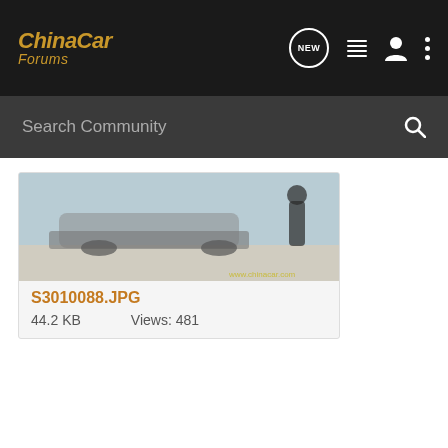ChinaCar Forums
Search Community
[Figure (photo): Partial view of a car in what appears to be a showroom or garage, with a person visible. Image filename S3010088.JPG displayed below.]
S3010088.JPG
44.2 KB   Views: 481
Chinese Cars/Auto Community - for anyone interested in Chinese Cars 🙂
Dennis Juan Sanabria · Registered
Joined Aug 9, 2006 · 92 Posts